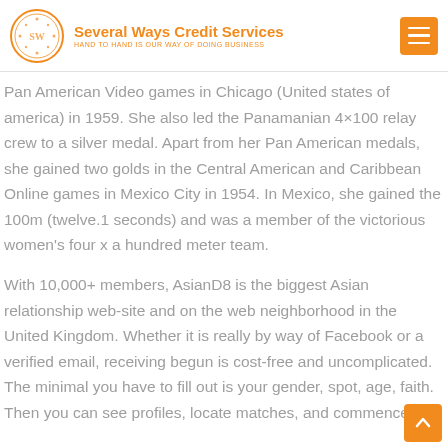Several Ways Credit Services — HAND TO HAND IS OUR WAY OF DOING BUSINESS
Pan American Video games in Chicago (United states of america) in 1959. She also led the Panamanian 4×100 relay crew to a silver medal. Apart from her Pan American medals, she gained two golds in the Central American and Caribbean Online games in Mexico City in 1954. In Mexico, she gained the 100m (twelve.1 seconds) and was a member of the victorious women's four x a hundred meter team.
With 10,000+ members, AsianD8 is the biggest Asian relationship web-site and on the web neighborhood in the United Kingdom. Whether it is really by way of Facebook or a verified email, receiving begun is cost-free and uncomplicated. The minimal you have to fill out is your gender, spot, age, faith. Then you can see profiles, locate matches, and commence